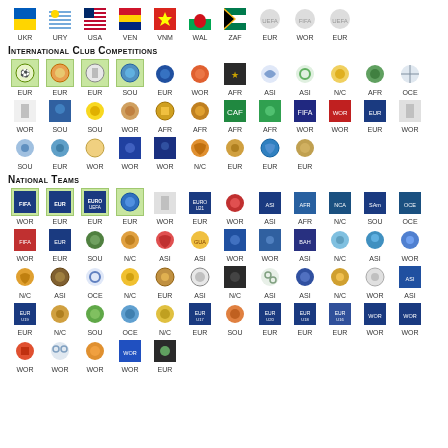[Figure (infographic): Grid of sports competition icons with labels: UKR, URY, USA, VEN, VNM, WAL, ZAF, EUR, WOR, EUR]
International Club Competitions
[Figure (infographic): Rows of international club competition icons labeled EUR, EUR, EUR, SOU (highlighted), EUR, WOR, AFR, ASI, ASI, N/C, AFR, OCE, WOR, SOU, SOU, WOR, AFR, AFR, AFR, AFR, WOR, WOR, EUR, WOR, SOU, EUR, WOR, WOR, WOR, N/C, EUR, EUR, EUR]
National Teams
[Figure (infographic): Rows of national teams competition icons labeled WOR, EUR, EUR, EUR (highlighted), WOR, EUR, WOR, ASI, AFR, N/C, SOU, OCE, WOR, EUR, SOU, N/C, ASI, ASI, WOR, WOR, ASI, N/C, ASI, WOR, N/C, ASI, OCE, N/C, EUR, ASI, N/C, ASI, ASI, N/C, WOR, ASI, EUR, N/C, SOU, OCE, N/C, EUR, SOU, EUR, EUR, EUR, WOR, WOR, WOR, WOR, WOR, WOR, EUR]